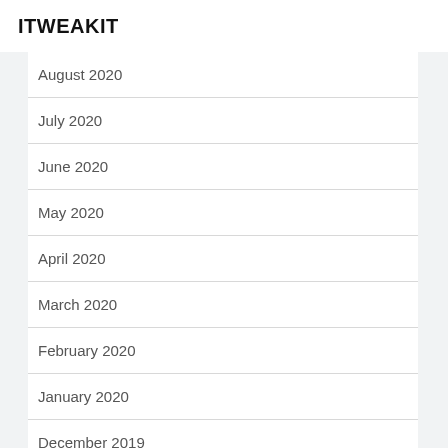ITWEAKIT
August 2020
July 2020
June 2020
May 2020
April 2020
March 2020
February 2020
January 2020
December 2019
November 2019